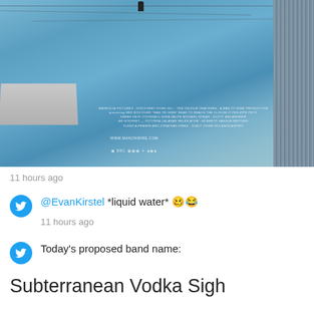[Figure (photo): Movie poster for 'Man on Wire' showing a tightrope walker between the Twin Towers, with a blue sky background, film credits at the bottom, and a building visible on the right edge. Website www.manonwire.com shown.]
11 hours ago
@EvanKirstel *liquid water* 🥴😂
11 hours ago
Today's proposed band name:
Subterranean Vodka Sigh